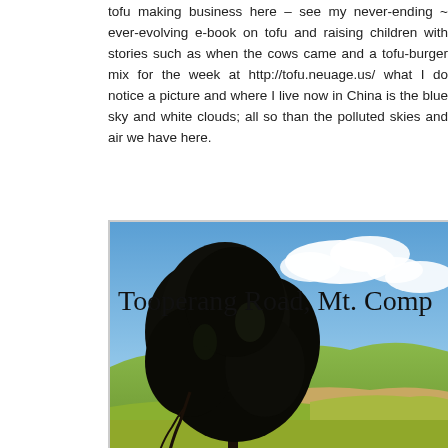tofu making business here – see my never-ending ~ ever-evolving e-book on tofu and raising children with stories such as when the cows came and a tofu-burger mix for the week at http://tofu.neuage.us/ what I do notice a picture and where I live now in China is the blue sky and white clouds; all so than the polluted skies and air we have here.
[Figure (photo): Outdoor photograph showing a large dark pine/eucalyptus tree against a blue sky with white clouds, and rolling green hills in the background. Text overlay reads 'Tooperang Road, Mt. Comp...' in a casual/handwritten font.]